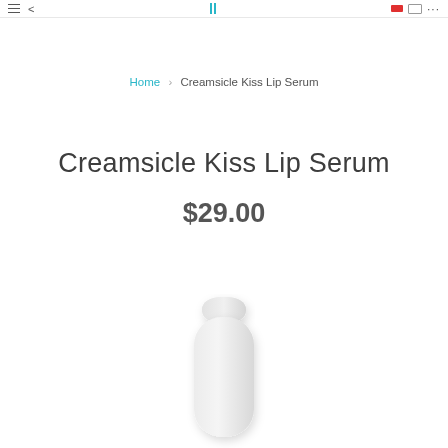navigation bar with hamburger menu, back arrow, pause icon, cart and dots
Home > Creamsicle Kiss Lip Serum
Creamsicle Kiss Lip Serum
$29.00
[Figure (photo): White cylindrical lip serum tube/bottle with rounded cap, shown on white background]